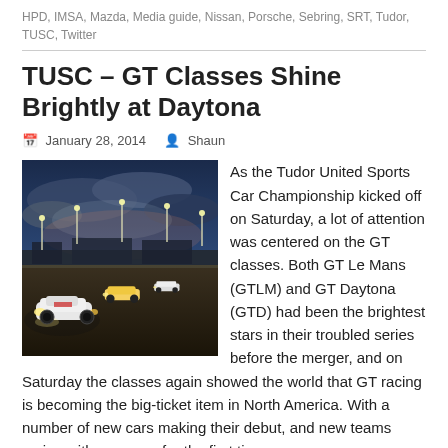HPD, IMSA, Mazda, Media guide, Nissan, Porsche, Sebring, SRT, Tudor, TUSC, Twitter
TUSC – GT Classes Shine Brightly at Daytona
January 28, 2014   Shaun
[Figure (photo): Night racing photo at Daytona showing GT cars on track with stadium lights and dramatic cloudy sky]
As the Tudor United Sports Car Championship kicked off on Saturday, a lot of attention was centered on the GT classes. Both GT Le Mans (GTLM) and GT Daytona (GTD) had been the brightest stars in their troubled series before the merger, and on Saturday the classes again showed the world that GT racing is becoming the big-ticket item in North America. With a number of new cars making their debut, and new teams racing with new cars for the first time,